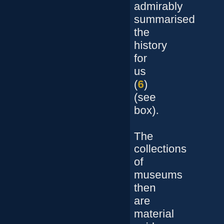admirably summarised the history for us (6) (see box). The collections of museums then are material evidence of the earth's living creatures